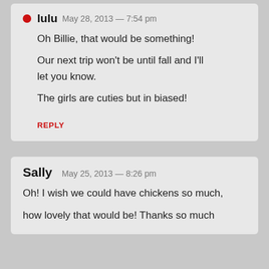lulu  May 28, 2013 — 7:54 pm
Oh Billie, that would be something!

Our next trip won't be until fall and I'll let you know.

The girls are cuties but in biased!
REPLY
Sally  May 25, 2013 — 8:26 pm
Oh! I wish we could have chickens so much, how lovely that would be! Thanks so much